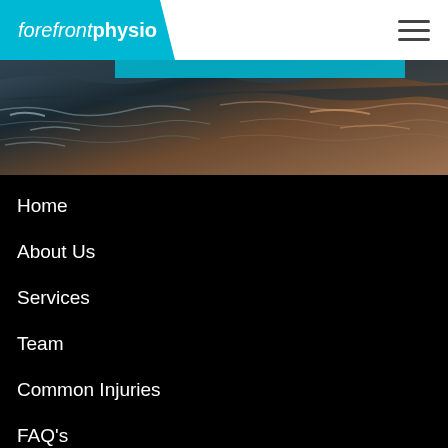forefront physio
[Figure (photo): Aerial view of ocean waves with dark and golden water tones and a cyan blue overlay band]
Home
About Us
Services
Team
Common Injuries
FAQ's